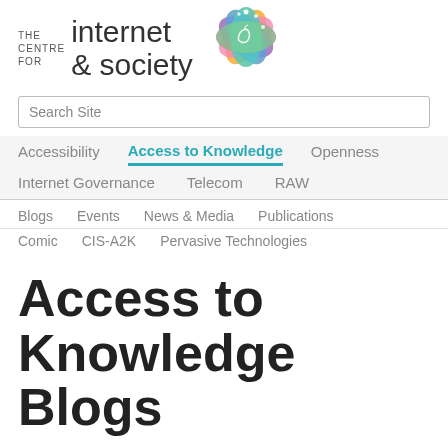[Figure (logo): The Centre for Internet & Society logo with colorful flower/mandala graphic]
Search Site
Accessibility | Access to Knowledge | Openness | Internet Governance | Telecom | RAW
Blogs  Events  News & Media  Publications  Comic  CIS-A2K  Pervasive Technologies
Access to Knowledge Blogs